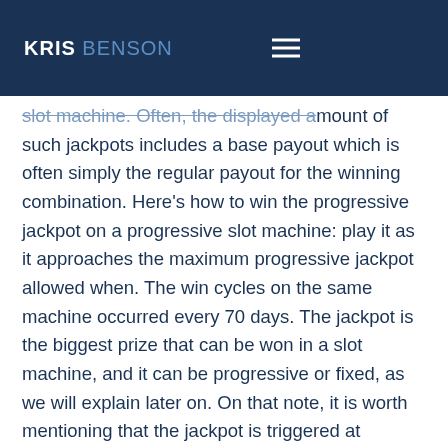KRIS BENSON
slot machine. Often, the displayed amount of such jackpots includes a base payout which is often simply the regular payout for the winning combination. Here's how to win the progressive jackpot on a progressive slot machine: play it as it approaches the maximum progressive jackpot allowed when. The win cycles on the same machine occurred every 70 days. The jackpot is the biggest prize that can be won in a slot machine, and it can be progressive or fixed, as we will explain later on. On that note, it is worth mentioning that the jackpot is triggered at random, so there is no way of knowing when the prize will hit. Are you hoping to win big when playing online slot machines? have you been dreaming of hitting that huge jackpot that just keeps growing? However, you can do some things to improve your